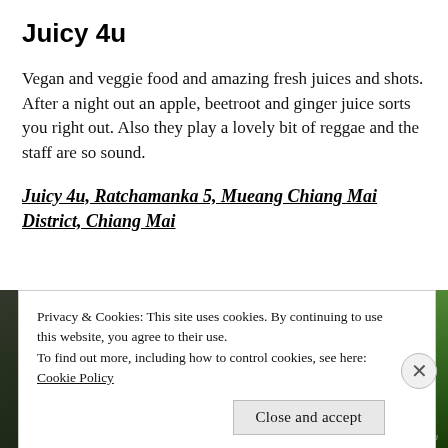Juicy 4u
Vegan and veggie food and amazing fresh juices and shots. After a night out an apple, beetroot and ginger juice sorts you right out. Also they play a lovely bit of reggae and the staff are so sound.
Juicy 4u, Ratchamanka 5, Mueang Chiang Mai District, Chiang Mai
[Figure (photo): Outdoor photo strip partially visible behind cookie banner, showing green foliage]
Privacy & Cookies: This site uses cookies. By continuing to use this website, you agree to their use.
To find out more, including how to control cookies, see here: Cookie Policy